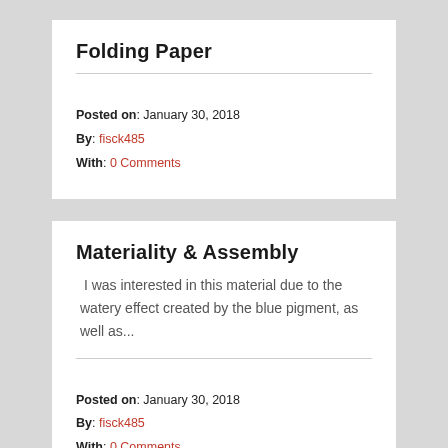Folding Paper
Posted on: January 30, 2018
By: fisck485
With: 0 Comments
Materiality & Assembly
I was interested in this material due to the watery effect created by the blue pigment, as well as...
Posted on: January 30, 2018
By: fisck485
With: 0 Comments